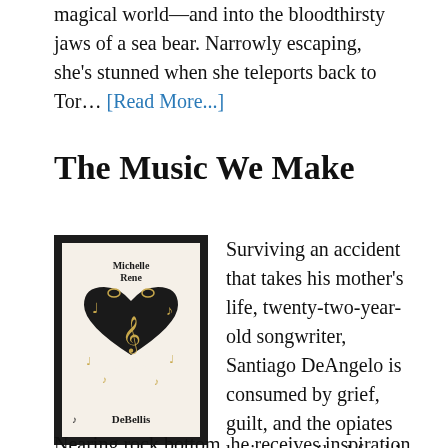magical world—and into the bloodthirsty jaws of a sea bear. Narrowly escaping, she's stunned when she teleports back to Tor… [Read More...]
The Music We Make
[Figure (illustration): Book cover of 'The Music We Make' by Michelle Rene DeBellis. Dark background with gold musical notes, a treble clef, and stylized hands forming a heart shape. Text reads 'THE MUSIC WE MAKE' and 'a novel' in the center.]
Surviving an accident that takes his mother's life, twenty-two-year-old songwriter, Santiago DeAngelo is consumed by grief, guilt, and the opiates he is prescribed for his injuries.
Nearing rock bottom, he receives inspiration for a song from his late mother. As he struggles